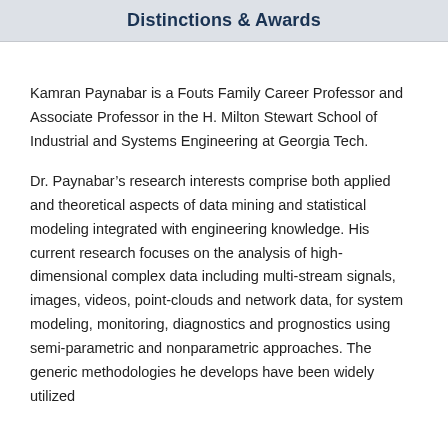Distinctions & Awards
Kamran Paynabar is a Fouts Family Career Professor and Associate Professor in the H. Milton Stewart School of Industrial and Systems Engineering at Georgia Tech.
Dr. Paynabar’s research interests comprise both applied and theoretical aspects of data mining and statistical modeling integrated with engineering knowledge. His current research focuses on the analysis of high-dimensional complex data including multi-stream signals, images, videos, point-clouds and network data, for system modeling, monitoring, diagnostics and prognostics using semi-parametric and nonparametric approaches. The generic methodologies he develops have been widely utilized